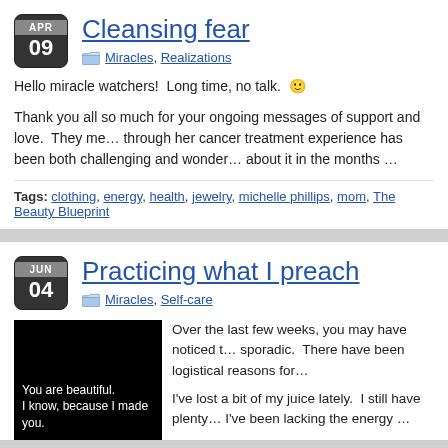Cleansing fear
Miracles, Realizations
Hello miracle watchers!  Long time, no talk.  🙂
Thank you all so much for your ongoing messages of support and love.  They me… through her cancer treatment experience has been both challenging and wonder… about it in the months …
Tags: clothing, energy, health, jewelry, michelle phillips, mom, The Beauty Blueprint
Practicing what I preach
Miracles, Self-care
[Figure (photo): Black background image with white text reading 'You are beautiful. I know, because I made you.']
Over the last few weeks, you may have noticed t… sporadic.  There have been logistical reasons for…
I've lost a bit of my juice lately.  I still have plenty… I've been lacking the energy …